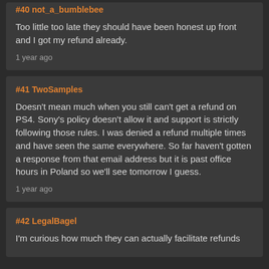#40 not_a_bumblebee
Too little too late they should have been honest up front and I got my refund already.
1 year ago
#41 TwoSamples
Doesn't mean much when you still can't get a refund on PS4. Sony's policy doesn't allow it and support is strictly following those rules. I was denied a refund multiple times and have seen the same everywhere. So far haven't gotten a response from that email address but it is past office hours in Poland so we'll see tomorrow I guess.
1 year ago
#42 LegalBagel
I'm curious how much they can actually facilitate refunds